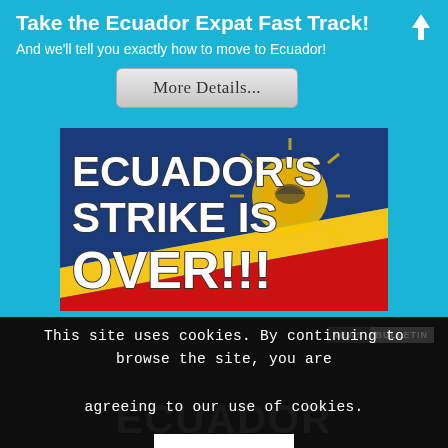Take the Ecuador Expat Fast Track!
And we'll tell you exactly how to move to Ecuador!
More Details...
[Figure (photo): Image with text overlay reading 'ECUADOR'S STRIKE IS OVER!!!' on a background showing Ecuador's flag colors (blue, yellow, red) with a sun/burst graphic]
NEWS BULLETIN
This site uses cookies. By continuing to browse the site, you are agreeing to our use of cookies.
OK
ECUADOR NATIONAL